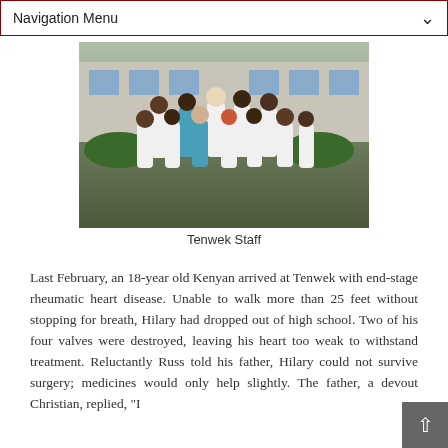Navigation Menu
[Figure (photo): Group photo of Tenwek hospital medical staff in white lab coats and scrubs standing outside a building]
Tenwek Staff
Last February, an 18-year old Kenyan arrived at Tenwek with end-stage rheumatic heart disease. Unable to walk more than 25 feet without stopping for breath, Hilary had dropped out of high school. Two of his four valves were destroyed, leaving his heart too weak to withstand treatment. Reluctantly Russ told his father, Hilary could not survive surgery; medicines would only help slightly. The father, a devout Christian, replied, "I